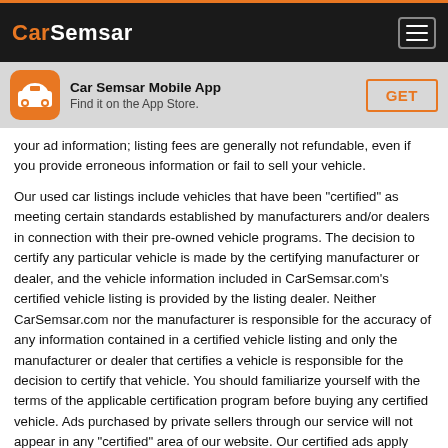CarSemsar
[Figure (logo): CarSemsar mobile app banner with orange car icon, title 'Car Semsar Mobile App', subtitle 'Find it on the App Store.' and a GET button]
your ad information; listing fees are generally not refundable, even if you provide erroneous information or fail to sell your vehicle.

Our used car listings include vehicles that have been "certified" as meeting certain standards established by manufacturers and/or dealers in connection with their pre-owned vehicle programs. The decision to certify any particular vehicle is made by the certifying manufacturer or dealer, and the vehicle information included in CarSemsar.com's certified vehicle listing is provided by the listing dealer. Neither CarSemsar.com nor the manufacturer is responsible for the accuracy of any information contained in a certified vehicle listing and only the manufacturer or dealer that certifies a vehicle is responsible for the decision to certify that vehicle. You should familiarize yourself with the terms of the applicable certification program before buying any certified vehicle. Ads purchased by private sellers through our service will not appear in any "certified" area of our website. Our certified ads apply only to vehicles certified by the automobile manufacturers with which we have partnerships.